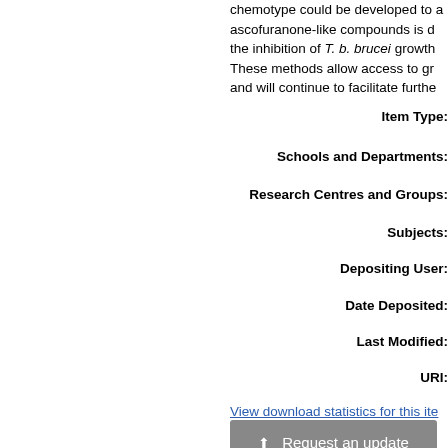chemotype could be developed to a ascofuranone-like compounds is d the inhibition of T. b. brucei growth These methods allow access to gr and will continue to facilitate furthe
Item Type:
Schools and Departments:
Research Centres and Groups:
Subjects:
Depositing User:
Date Deposited:
Last Modified:
URI:
View download statistics for this ite
⬆ Request an update